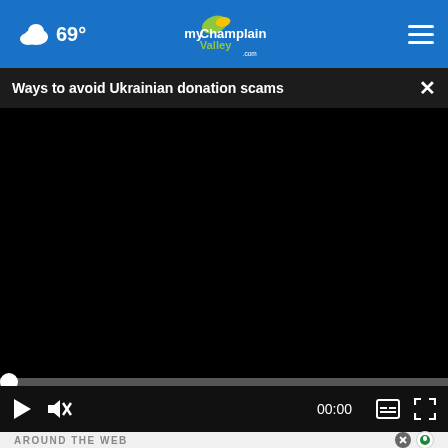69° myChamplainValley.com
Ways to avoid Ukrainian donation scams
[Figure (screenshot): Black video player area showing a paused video with progress bar at start (00:00). Controls include play button, mute button, time display '00:00', subtitles button, and fullscreen button.]
AROUND THE WEB